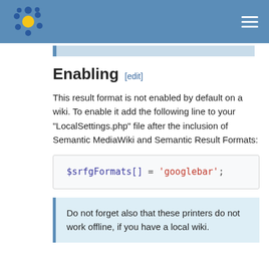Enabling [edit]
This result format is not enabled by default on a wiki. To enable it add the following line to your "LocalSettings.php" file after the inclusion of Semantic MediaWiki and Semantic Result Formats:
$srfgFormats[] = 'googlebar';
Do not forget also that these printers do not work offline, if you have a local wiki.